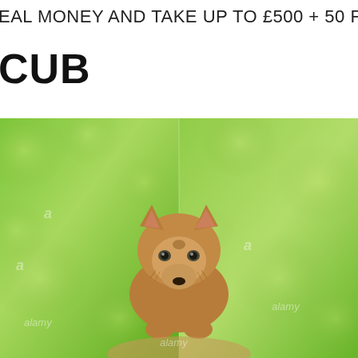EAL MONEY AND TAKE UP TO £500 + 50 FREE S
CUB
[Figure (photo): A wolf cub (young canine pup) with brown/tan fur, pointed ears, sitting and facing the camera against a blurred green bokeh background. The image has Alamy watermarks overlaid. The photo appears to be split slightly, showing two adjacent images of the same or similar subject.]